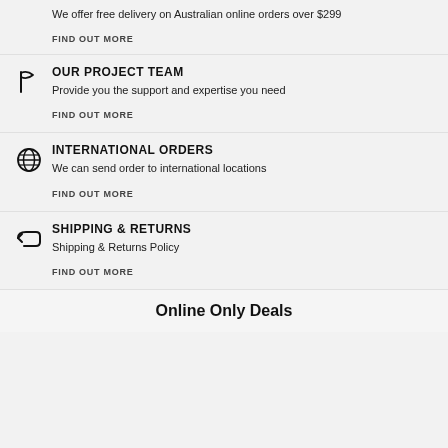We offer free delivery on Australian online orders over $299
FIND OUT MORE
OUR PROJECT TEAM
Provide you the support and expertise you need
FIND OUT MORE
INTERNATIONAL ORDERS
We can send order to international locations
FIND OUT MORE
SHIPPING & RETURNS
Shipping & Returns Policy
FIND OUT MORE
Online Only Deals